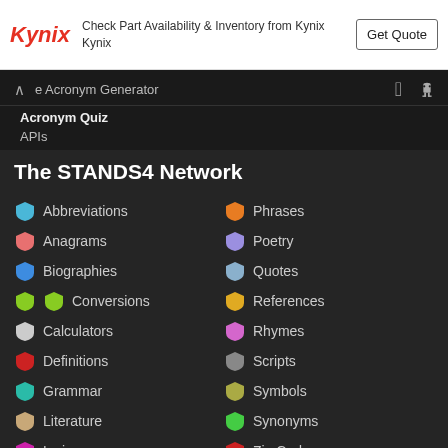[Figure (logo): Kynix logo with red italic text]
Check Part Availability & Inventory from Kynix Kynix
Get Quote
e Acronym Generator
Acronym Quiz
APIs
The STANDS4 Network
Abbreviations
Phrases
Anagrams
Poetry
Biographies
Quotes
Conversions
References
Calculators
Rhymes
Definitions
Scripts
Grammar
Symbols
Literature
Synonyms
Lyrics
Zip Codes
© 2001-2022 STANDS4 LLC.
All rights reserved.